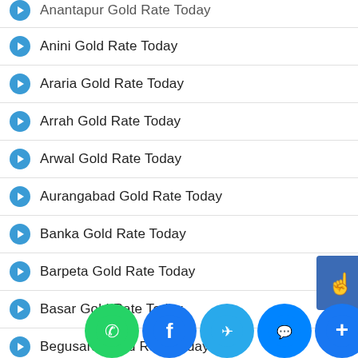Anantapur Gold Rate Today
Anini Gold Rate Today
Araria Gold Rate Today
Arrah Gold Rate Today
Arwal Gold Rate Today
Aurangabad Gold Rate Today
Banka Gold Rate Today
Barpeta Gold Rate Today
Basar Gold Rate Today
Begusarai Gold Rate Today
Bettiah Gold Rate Today
Bhabua Gold Rate Today